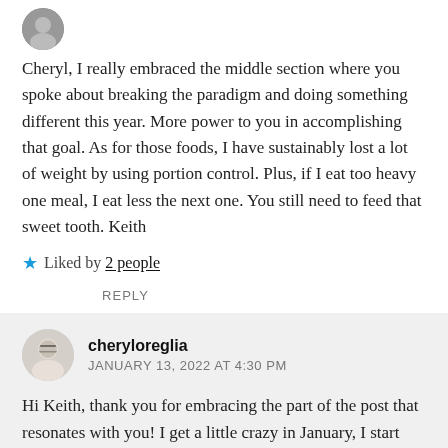[Figure (photo): Small circular avatar of a person, partially visible at top]
Cheryl, I really embraced the middle section where you spoke about breaking the paradigm and doing something different this year. More power to you in accomplishing that goal. As for those foods, I have sustainably lost a lot of weight by using portion control. Plus, if I eat too heavy one meal, I eat less the next one. You still need to feed that sweet tooth. Keith
★ Liked by 2 people
REPLY
[Figure (photo): Circular avatar photo of a woman with white/blonde hair and glasses]
cheryloreglia
JANUARY 13, 2022 AT 4:30 PM
Hi Keith, thank you for embracing the part of the post that resonates with you! I get a little crazy in January, I start thinking I'm out of time, my words are all used up, and I'm tired of running around the same damn track! You know